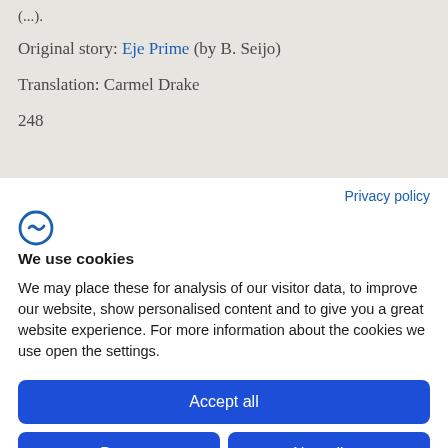(…).
Original story: Eje Prime (by B. Seijo)
Translation: Carmel Drake
248
Privacy policy
[Figure (logo): Cookie consent logo — stylized letter C with a checkmark in blue]
We use cookies
We may place these for analysis of our visitor data, to improve our website, show personalised content and to give you a great website experience. For more information about the cookies we use open the settings.
Accept all
Deny
No, adjust